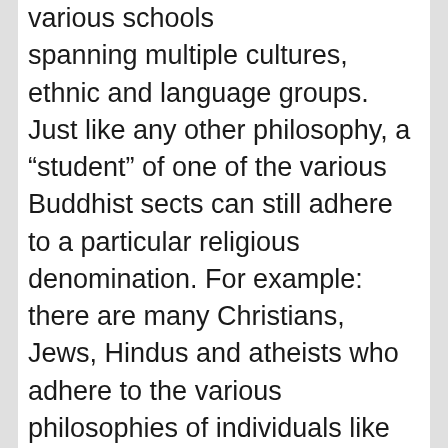various schools spanning multiple cultures, ethnic and language groups. Just like any other philosophy, a “student” of one of the various Buddhist sects can still adhere to a particular religious denomination. For example: there are many Christians, Jews, Hindus and atheists who adhere to the various philosophies of individuals like Hobbes, Locke, Marx, Nietzsche, Gandhi, etc., and they there is no apparent conflict between their religious beliefs and their philosophical beliefs; in a similar vein, there is no real conflict for a Christian, Jew, Hindu or even atheist to follow the teachings of Lord Buddha. Buddhism, for all intents and